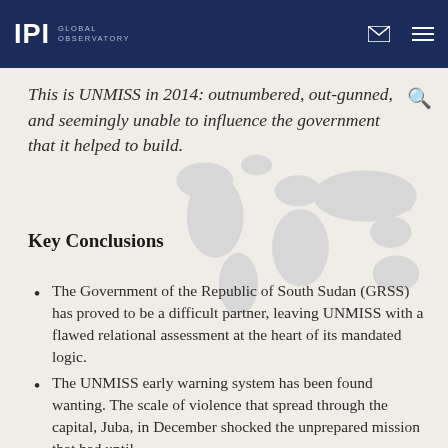IPI GLOBAL OBSERVATORY
This is UNMISS in 2014: outnumbered, out-gunned, and seemingly unable to influence the government that it helped to build.
Key Conclusions
The Government of the Republic of South Sudan (GRSS) has proved to be a difficult partner, leaving UNMISS with a flawed relational assessment at the heart of its mandated logic.
The UNMISS early warning system has been found wanting. The scale of violence that spread through the capital, Juba, in December shocked the unprepared mission that had until